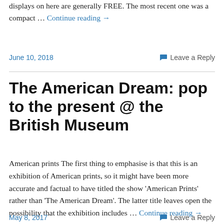displays on here are generally FREE. The most recent one was a compact … Continue reading →
June 10, 2018  💬 Leave a Reply
The American Dream: pop to the present @ the British Museum
American prints The first thing to emphasise is that this is an exhibition of American prints, so it might have been more accurate and factual to have titled the show 'American Prints' rather than 'The American Dream'. The latter title leaves open the possibility that the exhibition includes … Continue reading →
May 8, 2017  💬 Leave a Reply